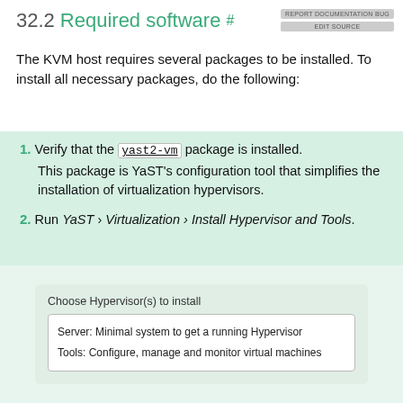32.2 Required software
The KVM host requires several packages to be installed. To install all necessary packages, do the following:
Verify that the yast2-vm package is installed. This package is YaST’s configuration tool that simplifies the installation of virtualization hypervisors.
Run YaST › Virtualization › Install Hypervisor and Tools.
[Figure (screenshot): A dialog box showing 'Choose Hypervisor(s) to install' with two options: 'Server: Minimal system to get a running Hypervisor' and 'Tools: Configure, manage and monitor virtual machines'.]